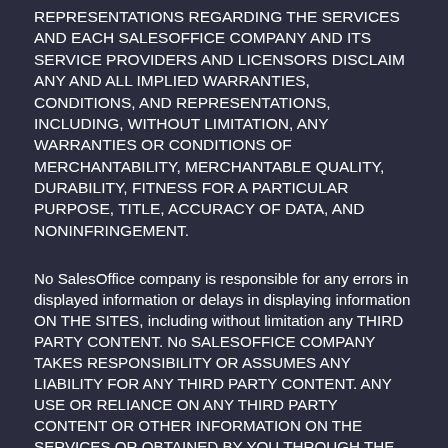REPRESENTATIONS REGARDING THE SERVICES AND EACH SALESOFFICE COMPANY AND ITS SERVICE PROVIDERS AND LICENSORS DISCLAIM ANY AND ALL IMPLIED WARRANTIES, CONDITIONS, AND REPRESENTATIONS, INCLUDING, WITHOUT LIMITATION, ANY WARRANTIES OR CONDITIONS OF MERCHANTABILITY, MERCHANTABLE QUALITY, DURABILITY, FITNESS FOR A PARTICULAR PURPOSE, TITLE, ACCURACY OF DATA, AND NONINFRINGEMENT.
No SalesOffice company is responsible for any errors in displayed information or delays in displaying information ON THE SITES, including without limitation any THIRD PARTY CONTENT. No SALESOFFICE COMPANY TAKES RESPONSIBILITY OR ASSUMES ANY LIABILITY FOR ANY THIRD PARTY CONTENT. ANY USE OR RELIANCE ON ANY THIRD PARTY CONTENT OR OTHER INFORMATION ON THE SERVICES OR OBTAINED BY YOU THROUGH THE SERVICES IS AT YOUR OWN RISK, INCLUDING INFORMATION PROVIDED BY OR FOR A SALESOFFICE COMPANY. NO SALESOFFICE COMPANY IS RESPONSIBLE FOR THE ACTS OR OMISSIONS OF, OR ANY CONTENT OR INFORMATION PROVIDED BY ANY THIRD PARTY, INCLUDING, WITHOUT LIMITATION, A MULTIPLE LISTING SERVICE OR AN AGENT PARTICIPATING IN THE